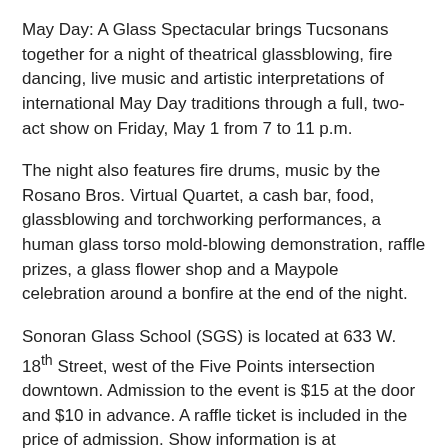May Day: A Glass Spectacular brings Tucsonans together for a night of theatrical glassblowing, fire dancing, live music and artistic interpretations of international May Day traditions through a full, two-act show on Friday, May 1 from 7 to 11 p.m.
The night also features fire drums, music by the Rosano Bros. Virtual Quartet, a cash bar, food, glassblowing and torchworking performances, a human glass torso mold-blowing demonstration, raffle prizes, a glass flower shop and a Maypole celebration around a bonfire at the end of the night.
Sonoran Glass School (SGS) is located at 633 W. 18th Street, west of the Five Points intersection downtown. Admission to the event is $15 at the door and $10 in advance. A raffle ticket is included in the price of admission. Show information is at www.sonoranglass.org/mayday, and presale tickets may be bought online at www.sonoranglass.org/maydaytickets until April 31, 2015.